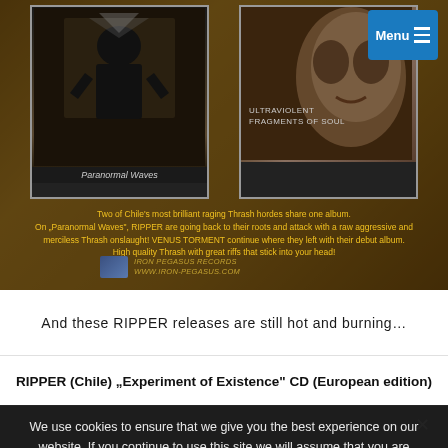[Figure (photo): Album promotional banner with two album covers (Paranormal Waves on left, Ultraviolent Fragments of Soul on right) on sepia/brown background with a dark hooded figure in the center. Text overlay in gold/yellow describing the split album.]
Two of Chile’s most brilliant raging Thrash hordes share one album. On „Paranormal Waves“, RIPPER are going back to their roots and attack with a raw aggressive and merciless Thrash onslaught! VENUS TORMENT continue where they left with their debut album. High quality Thrash with great riffs that stick into your head!
IRON PEGASUS RECORDS
www.iron-pegasus.com
And these RIPPER releases are still hot and burning…
RIPPER (Chile) „Experiment of Existence“ CD (European edition)
We use cookies to ensure that we give you the best experience on our website. If you continue to use this site we will assume that you are happy with it.
Ok  Read more